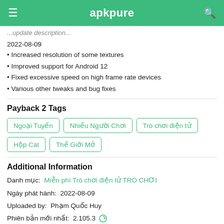apkpure
2022-08-09
• Increased resolution of some textures
• Improved support for Android 12
• Fixed excessive speed on high frame rate devices
• Various other tweaks and bug fixes
Payback 2 Tags
Ngoại Tuyến | Nhiều Người Chơi | Trò chơi điện tử | Hộp Cát | Thế Giới Mở
Additional Information
Danh mục: Miễn phí Trò chơi điện tử TRÒ CHƠI
Ngày phát hành: 2022-08-09
Uploaded by: Phạm Quốc Huy
Phiên bản mới nhất: 2.105.3
Available on: Google Play
Yêu cầu: Android 5.0+
Phiên bản...